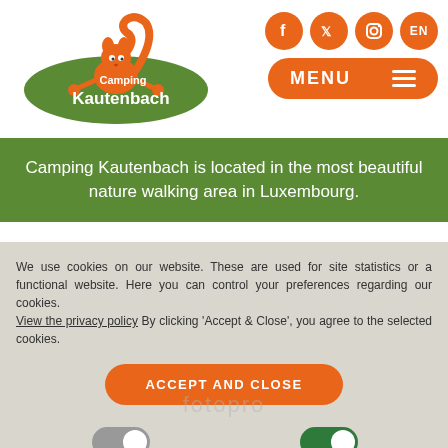[Figure (logo): Camping Kautenbach logo with cartoon squirrel on green oval, orange brand colors]
[Figure (infographic): Social media icons (Facebook, Twitter, Instagram) in orange circles, EN language button, and orange MENU button with hamburger icon]
Camping Kautenbach is located in the most beautiful nature walking area in Luxembourg.
We use cookies on our website. These are used for site statistics or a functional website. Here you can control your preferences regarding our cookies. View the privacy policy By clicking 'Accept & Close', you agree to the selected cookies.
[Figure (infographic): ACCEPT AND CLOSE orange rounded button]
FUNCTIONAL COOKIES
ANALYTICAL COOKIES